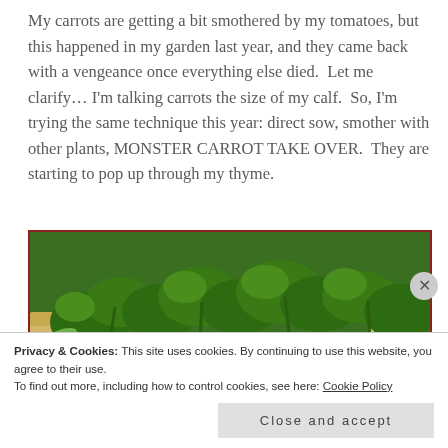My carrots are getting a bit smothered by my tomatoes, but this happened in my garden last year, and they came back with a vengeance once everything else died.  Let me clarify… I'm talking carrots the size of my calf.  So, I'm trying the same technique this year: direct sow, smother with other plants, MONSTER CARROT TAKE OVER.  They are starting to pop up through my thyme.
[Figure (photo): A raised garden bed with lush green tomato plants and other leafy vegetables growing densely. The bed has wooden frame sides, visible in tan/light wood color. Dark soil visible at the base. Red border around the photo.]
Privacy & Cookies: This site uses cookies. By continuing to use this website, you agree to their use.
To find out more, including how to control cookies, see here: Cookie Policy
Close and accept